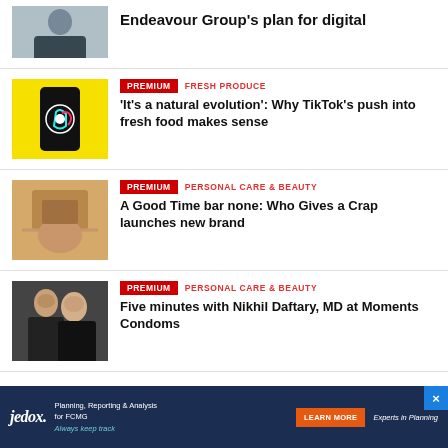[Figure (photo): Man in dark suit, cropped at top]
Endeavour Group’s plan for digital
[Figure (photo): TikTok app on phone with yellow background]
PREMIUM   FRESH PRODUCE
‘It’s a natural evolution’: Why TikTok’s push into fresh food makes sense
[Figure (photo): Hand holding a bar of soap]
PREMIUM   PERSONAL CARE & BEAUTY
A Good Time bar none: Who Gives a Crap launches new brand
[Figure (photo): Two women posing for photo]
PREMIUM   PERSONAL CARE & BEAUTY
Five minutes with Nikhil Daftary, MD at Moments Condoms
[Figure (infographic): Jedox advertisement banner: Planning, Reporting & Analysis for FCMG. Always keep track. Learn More button. Experts in Planning.]